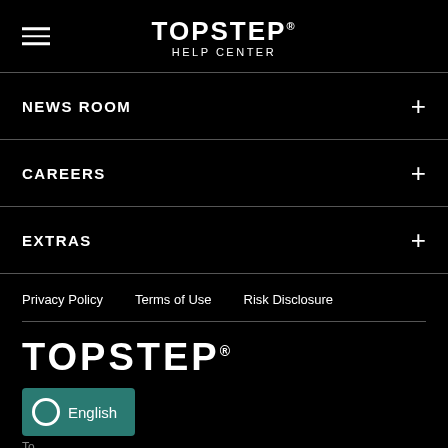TOPSTEP HELP CENTER
NEWS ROOM
CAREERS
EXTRAS
Privacy Policy   Terms of Use   Risk Disclosure
[Figure (logo): TOPSTEP logo in large bold white text on black background]
English